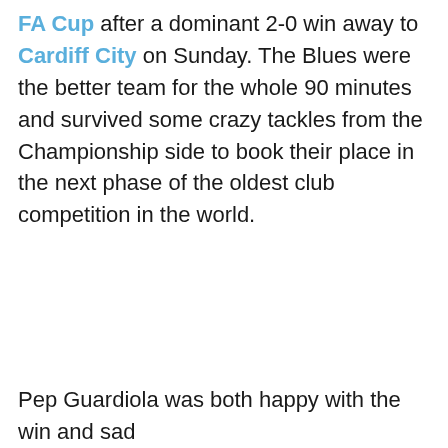FA Cup after a dominant 2-0 win away to Cardiff City on Sunday. The Blues were the better team for the whole 90 minutes and survived some crazy tackles from the Championship side to book their place in the next phase of the oldest club competition in the world.
Pep Guardiola was both happy with the win and sad